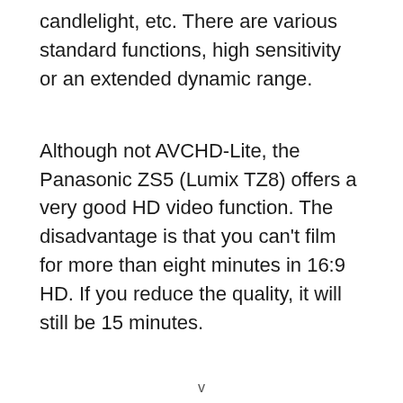candlelight, etc. There are various standard functions, high sensitivity or an extended dynamic range.
Although not AVCHD-Lite, the Panasonic ZS5 (Lumix TZ8) offers a very good HD video function. The disadvantage is that you can't film for more than eight minutes in 16:9 HD. If you reduce the quality, it will still be 15 minutes.
v